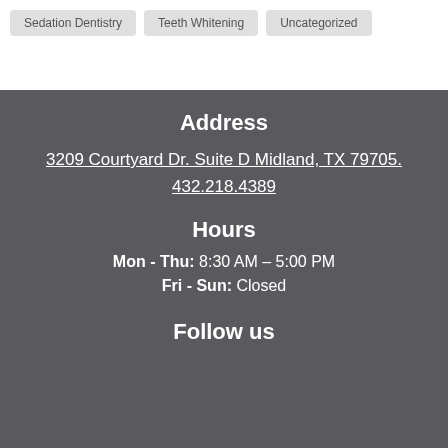Sedation Dentistry   Teeth Whitening   Uncategorized
Address
3209 Courtyard Dr. Suite D Midland, TX 79705.
432.218.4389
Hours
Mon - Thu: 8:30 AM – 5:00 PM
Fri - Sun: Closed
Follow us